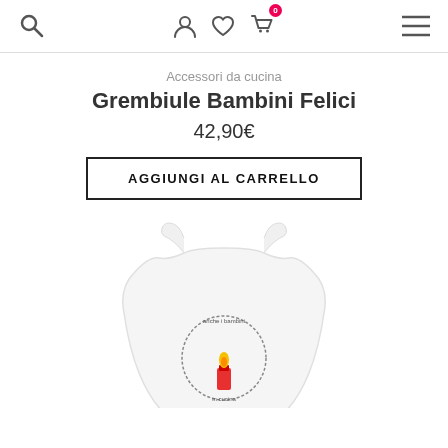[Figure (screenshot): Website navigation bar with search icon, user account icon, heart/wishlist icon, shopping cart icon with badge showing 0, and hamburger menu icon]
Accessori da cucina
Grembiule Bambini Felici
42,90€
AGGIUNGI AL CARRELLO
[Figure (photo): White children's apron with a circular embroidered or printed design showing a candle with a flame, surrounded by decorative text/elements]